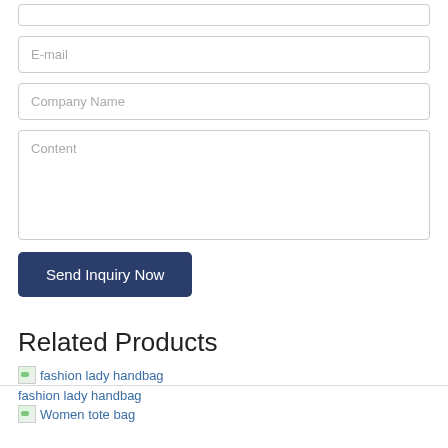[Figure (screenshot): Top partial input field (border only visible at bottom of crop)]
E-mail
Company Name
Content
Send Inquiry Now
Related Products
fashion lady handbag
Women tote bag